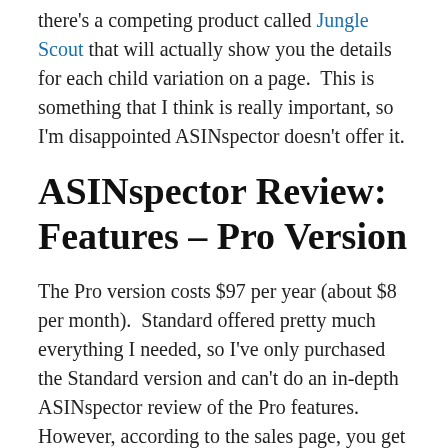there's a competing product called Jungle Scout that will actually show you the details for each child variation on a page.  This is something that I think is really important, so I'm disappointed ASINspector doesn't offer it.
ASINspector Review: Features – Pro Version
The Pro version costs $97 per year (about $8 per month).  Standard offered pretty much everything I needed, so I've only purchased the Standard version and can't do an in-depth ASINspector review of the Pro features.  However, according to the sales page, you get